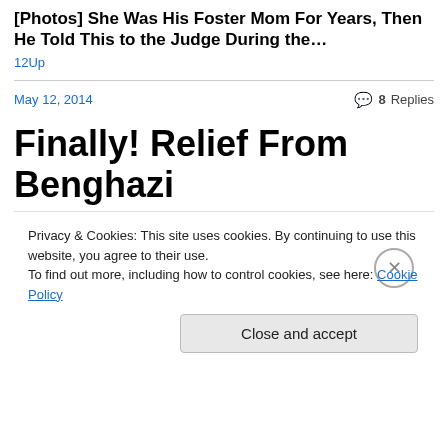[Photos] She Was His Foster Mom For Years, Then He Told This to the Judge During the…
12Up
May 12, 2014    💬 8 Replies
Finally! Relief From Benghazi
[Figure (photo): Red medicine-box style parody label reading: GREATEST HYPOCRISY SINCE ORIGINAL 9/11, DEEP PARANOID PSYCHOSIS, FAST RELIEF FROM LANDSLIDE ELECTION DEFEAT, HELPS YOU FORGET VOTING TO CUT OVERSEAS SECURITY. Blue box on right: FOR ADDITIONAL INFORMATION MAYBE JUST WAIT FOR THE CIA SO YOU DON'T OUT ANY MORE SECRET OPS. CIA logo in center of blue box.]
Privacy & Cookies: This site uses cookies. By continuing to use this website, you agree to their use.
To find out more, including how to control cookies, see here: Cookie Policy
Close and accept